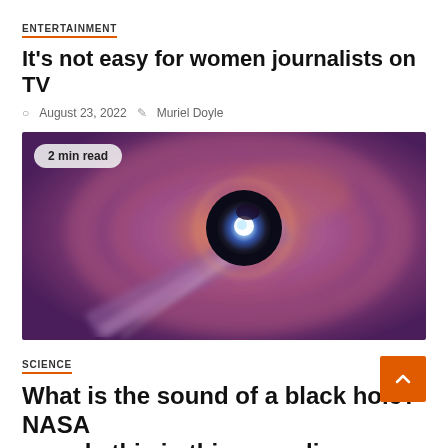ENTERTAINMENT
It's not easy for women journalists on TV
August 23, 2022  Muriel Doyle
[Figure (photo): Astronomical image of a black hole or neutron star with purple/pink nebula clouds surrounding a bright central region with blue and white highlights, diagonal beam of light extending from center. Badge reads '2 min read'.]
SCIENCE
What is the sound of a black hole? NASA reveals this in this recording – Western